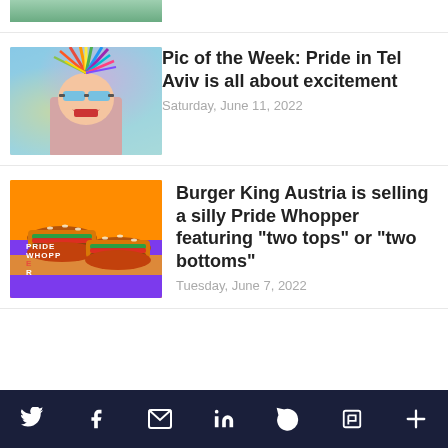[Figure (photo): Partially visible image at top of page (cropped), appears to be a colorful outdoor scene]
[Figure (photo): Person wearing colorful feathered headdress and sunglasses at Pride parade in Tel Aviv, screaming with excitement]
Pic of the Week: Pride in Tel Aviv is all about excitement
Saturday, June 11, 2022
[Figure (photo): Burger King Austria Pride Whopper advertisement showing two burgers with text 'PRIDE WHOPPER' at bottom left]
Burger King Austria is selling a silly Pride Whopper featuring “two tops” or “two bottoms”
Tuesday, June 7, 2022
Twitter, Facebook, Email, LinkedIn, WhatsApp, Flipboard, More